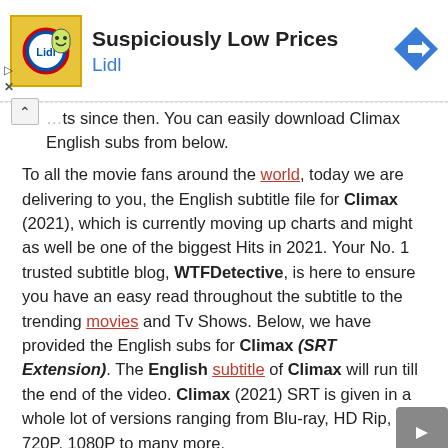[Figure (other): Advertisement banner for Lidl 'Suspiciously Low Prices' with logo image, title text, Lidl brand name in blue, and a blue diamond arrow navigation icon on the right. Play and close controls on the left.]
...ts since then. You can easily download Climax English subs from below.
To all the movie fans around the world, today we are delivering to you, the English subtitle file for Climax (2021), which is currently moving up charts and might as well be one of the biggest Hits in 2021. Your No. 1 trusted subtitle blog, WTFDetective, is here to ensure you have an easy read throughout the subtitle to the trending movies and Tv Shows. Below, we have provided the English subs for Climax (SRT Extension). The English subtitle of Climax will run till the end of the video. Climax (2021) SRT is given in a whole lot of versions ranging from Blu-ray, HD Rip, 720P, 1080P to many more.